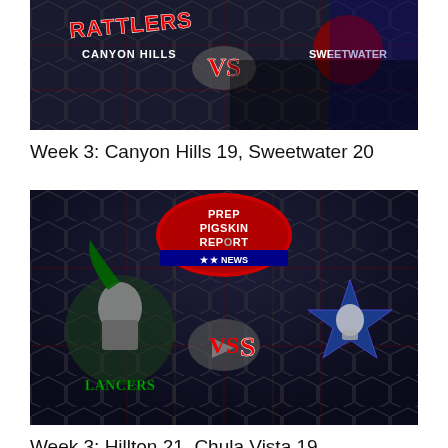[Figure (screenshot): Sports matchup thumbnail showing Canyon Hills Rattlers vs Sweetwater with team logos on a dark hexagonal background]
Week 3: Canyon Hills 19, Sweetwater 20
[Figure (screenshot): Sports matchup thumbnail for Prep Pigskin Report showing Lancers vs a star-logo team (Chula Vista) on a dark hexagonal background with play button]
Week 3: Hillton 21, Chula Vista 19